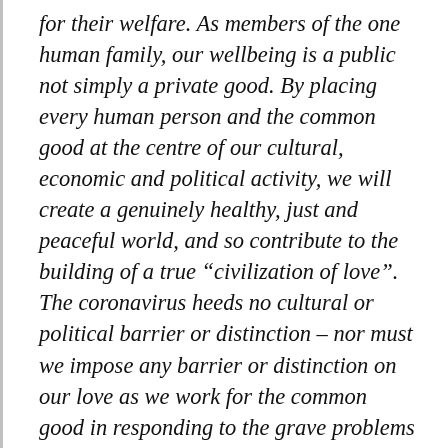for their welfare. As members of the one human family, our wellbeing is a public not simply a private good. By placing every human person and the common good at the centre of our cultural, economic and political activity, we will create a genuinely healthy, just and peaceful world, and so contribute to the building of a true “civilization of love”. The coronavirus heeds no cultural or political barrier or distinction – nor must we impose any barrier or distinction on our love as we work for the common good in responding to the grave problems brought to the fore by the pandemic, in fidelity to our